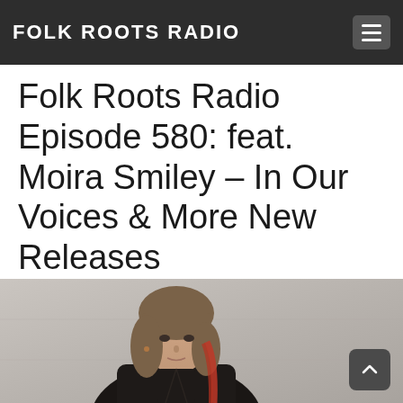FOLK ROOTS RADIO
Folk Roots Radio Episode 580: feat. Moira Smiley – In Our Voices & More New Releases
[Figure (photo): Portrait photo of Moira Smiley, a woman with shoulder-length brown hair with red highlights, wearing a dark jacket, standing in front of a concrete wall background.]